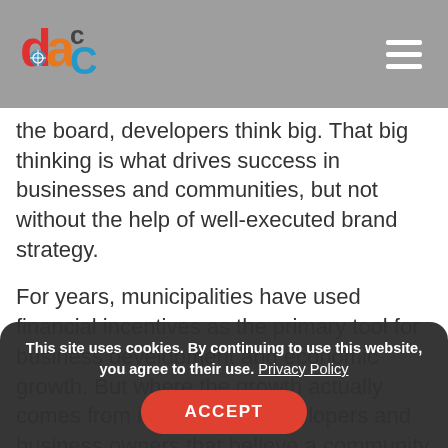DCC logo and navigation bar
the board, developers think big. That big thinking is what drives success in businesses and communities, but not without the help of well-executed brand strategy.
For years, municipalities have used financial incentives as the primary tool for business development and economic growth. But where the growth actually comes from is residents, developers and business owners that believe a community brand is worth investing in. What defines your area and makes it unique is your opportunity to build a brand strategy that attracts developers and consumers who share that same vision.
Brand strategy has become a core economic development and imperative for community development initiatives. Over the last decade,
This site uses cookies. By continuing to use this website, you agree to their use. Privacy Policy ACCEPT